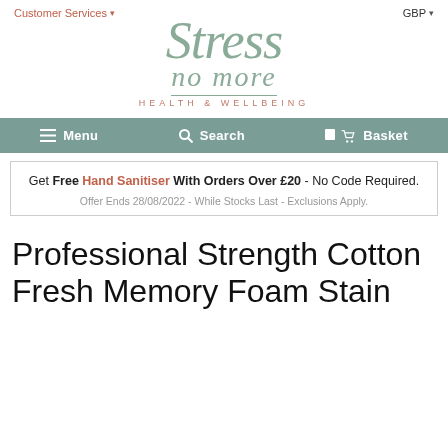Customer Services
[Figure (logo): Stress no more Health & Wellbeing logo in sage green with italic serif text]
GBP
Menu   Search   Basket
Get Free Hand Sanitiser With Orders Over £20 - No Code Required.
Offer Ends 28/08/2022 - While Stocks Last - Exclusions Apply.
Professional Strength Cotton Fresh Memory Foam Stain